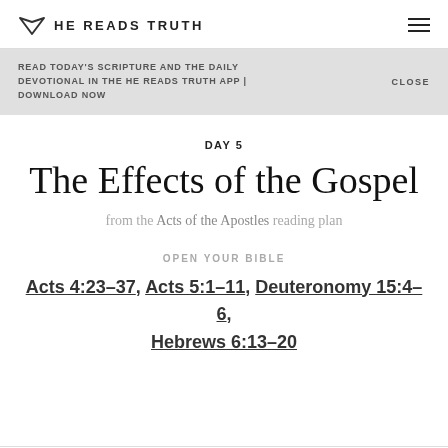HE READS TRUTH
READ TODAY'S SCRIPTURE AND THE DAILY DEVOTIONAL IN THE HE READS TRUTH APP | DOWNLOAD NOW   CLOSE
DAY 5
The Effects of the Gospel
from the Acts of the Apostles reading plan
OPEN YOUR BIBLE
Acts 4:23–37, Acts 5:1–11, Deuteronomy 15:4–6, Hebrews 6:13–20